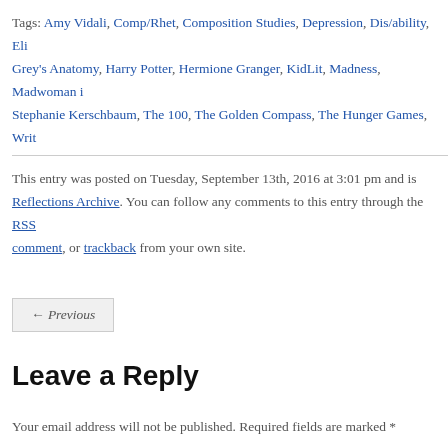Tags: Amy Vidali, Comp/Rhet, Composition Studies, Depression, Dis/ability, Eli Grey's Anatomy, Harry Potter, Hermione Granger, KidLit, Madness, Madwoman i Stephanie Kerschbaum, The 100, The Golden Compass, The Hunger Games, Writ
This entry was posted on Tuesday, September 13th, 2016 at 3:01 pm and is Reflections Archive. You can follow any comments to this entry through the RSS comment, or trackback from your own site.
← Previous
Leave a Reply
Your email address will not be published. Required fields are marked *